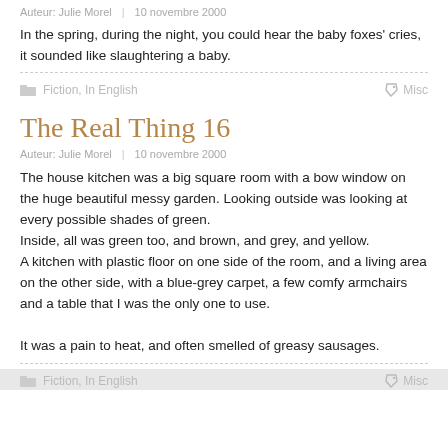Auteur: Julie Morel  |  10 novembre 2000
In the spring, during the night, you could hear the baby foxes' cries, it sounded like slaughtering a baby.
Fiction, In English    Misc
The Real Thing 16
Auteur: Julie Morel  |  10 novembre 2000
The house kitchen was a big square room with a bow window on the huge beautiful messy garden. Looking outside was looking at every possible shades of green.
Inside, all was green too, and brown, and grey, and yellow.
A kitchen with plastic floor on one side of the room, and a living area on the other side, with a blue-grey carpet, a few comfy armchairs and a table that I was the only one to use.

It was a pain to heat, and often smelled of greasy sausages.
Fiction, In English    Misc